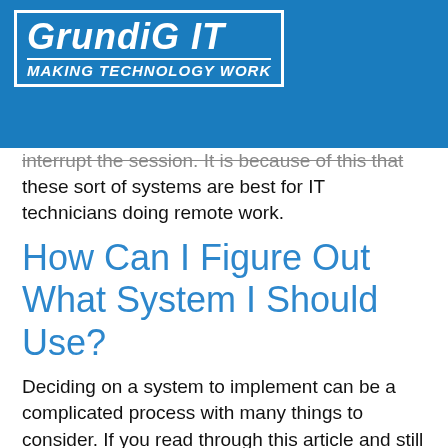[Figure (logo): GrundiG IT logo — white text on blue background, with tagline 'Making Technology Work' in a bordered box]
interrupt the session. It is because of this that these sort of systems are best for IT technicians doing remote work.
How Can I Figure Out What System I Should Use?
Deciding on a system to implement can be a complicated process with many things to consider. If you read through this article and still aren't sure what system will work best for your business, Grundig IT will be happy to provide suggestions. Give us a call at (925) 528-9981 or email tom@grundigit.com